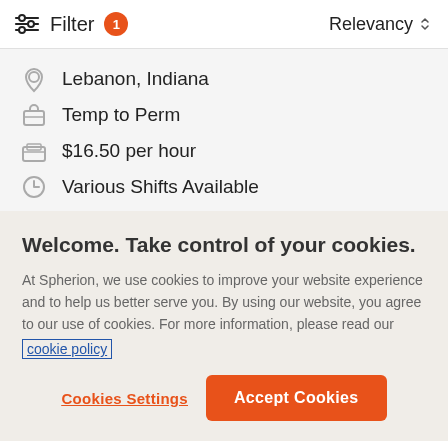Filter 1   Relevancy
Lebanon, Indiana
Temp to Perm
$16.50 per hour
Various Shifts Available
Welcome. Take control of your cookies.
At Spherion, we use cookies to improve your website experience and to help us better serve you. By using our website, you agree to our use of cookies. For more information, please read our cookie policy
Cookies Settings
Accept Cookies